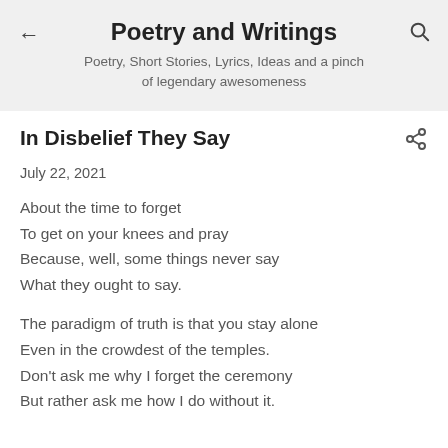Poetry and Writings
Poetry, Short Stories, Lyrics, Ideas and a pinch of legendary awesomeness
In Disbelief They Say
July 22, 2021
About the time to forget
To get on your knees and pray
Because, well, some things never say
What they ought to say.
The paradigm of truth is that you stay alone
Even in the crowdest of the temples.
Don't ask me why I forget the ceremony
But rather ask me how I do without it.